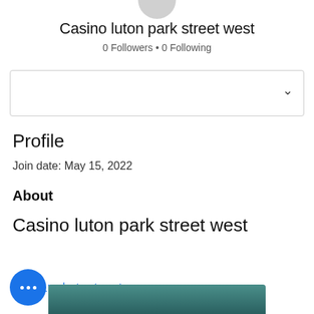[Figure (photo): Partial circular profile avatar image at top center, cropped]
Casino luton park street west
0 Followers • 0 Following
[Figure (other): Dropdown selector box with chevron arrow]
Profile
Join date: May 15, 2022
About
Casino luton park street west
Casino luton park street west
[Figure (other): Blue circular FAB button with three white dots]
[Figure (photo): Partial blurred teal/green image at bottom]